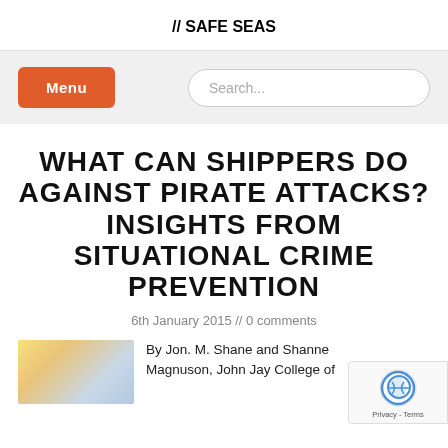// SAFE SEAS
WHAT CAN SHIPPERS DO AGAINST PIRATE ATTACKS? INSIGHTS FROM SITUATIONAL CRIME PREVENTION
6th January 2015 // 0 comments
[Figure (photo): Thumbnail image with orange/yellow and blue gradient tones]
By Jon. M. Shane and Shannon Magnuson, John Jay College of